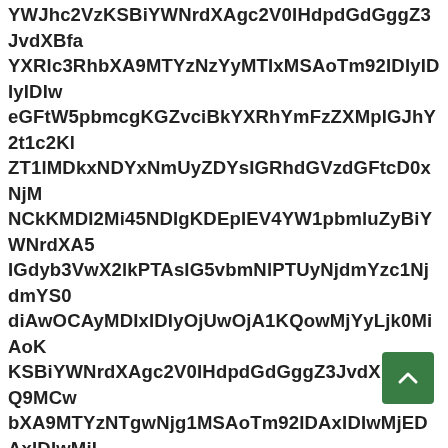YWJhc2VzKSBiYWNrdXAgc2V0IHdpdGdGggZ3JvdXBfa YXRlc3RhbXA9MTYzNzYyMTIxMSAoTm92IDIyIDIyIDIw eGFtW5pbmcgKGZvciBkYXRhYmFzZXMpIGJhY2t1c2Kl ZT1lMDkxNDYxNmUyZDYsIGRhdGVzdGFtcD0xNjM NCkKMDI2Mi45NDIgKDEpIEV4YW1pbmluZyBiYWNrdXA5 IGdyb3VwX2lkPTAsIG5vbmNlPTUyNjdmYzc1NjdmYS0 diAwOCAyMDIxIDIyOjUwOjA1KQowMjYyLjk0MiAoKK KSBiYWNrdXAgc2V0IHdpdGdGggZ3JvdXBfaWQ9MCw bXA9MTYzNTgwNjg1MSAoTm92IDAxIDIwMjEDAxIDIwMjI b2YgYmFja3VwIHNldHMgaW4gdGhlIGdyb3VwLgMTE7I ICgxKSBFeGFtaW5pbmcgKGZvciBiYWNrdXBzKSBiYWNja YWI5NiwgZGF0ZXN0YW1wPTE2MzkzNDUwNTQgK NCAoMSkgVGhpcyBiYWNrdXAgc2V0IHdpdGggSJlbWFpb ZXRhaW4gW4gaGlzdG9yeVG9yeQowMjYzLjAzNiAoMS4 cCBzZXQgd2I0aCBub25jZT0yNGQwOGYxQMU8ZDc MTEgMjAyMSAyMToTozNTozMikKMDI2My4yKDI2My4yMj bi1lbXB0eVNAoZj0wL2Q9MSk7IHdpbGwgdXBkYXRlVlb